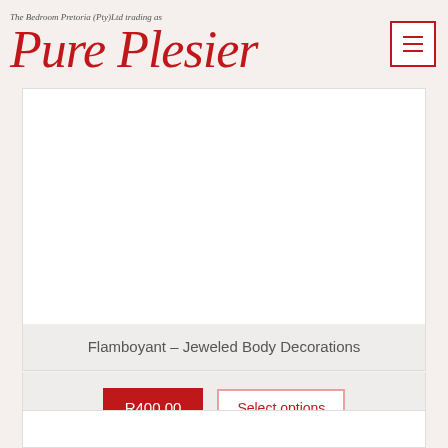The Bedroom Pretoria (Pty)Ltd trading as Pure Plesier
[Figure (logo): Pure Plesier red cursive logo with menu button]
Flamboyant – Jeweled Body Decorations
R400.00  Select options